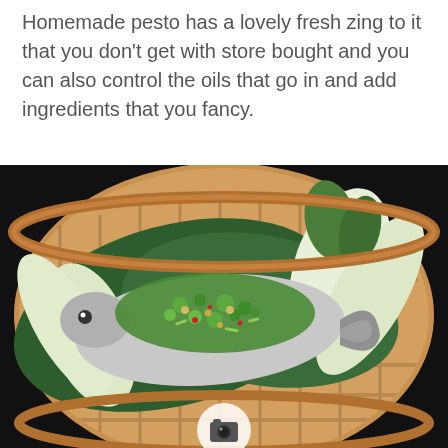Homemade pesto has a lovely fresh zing to it that you don't get with store bought and you can also control the oils that go in and add ingredients that you fancy.
[Figure (photo): A whole fish topped with chopped herbs, green onions, red chili flakes, and nuts, resting on large green leaves inside a round bamboo steamer basket alongside bok choy. The steamer sits on a dark surface.]